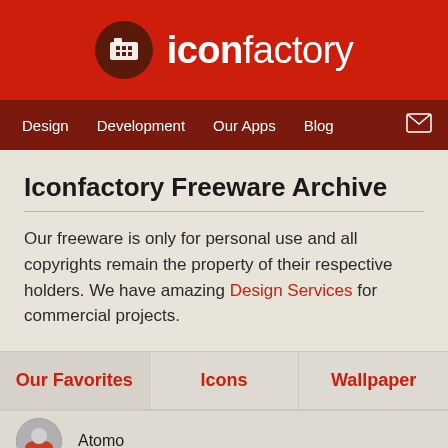iconfactory
Design | Development | Our Apps | Blog
Iconfactory Freeware Archive
Our freeware is only for personal use and all copyrights remain the property of their respective holders. We have amazing Design Services for commercial projects.
Our Favorites
Icons
Wallpaper
Atomo